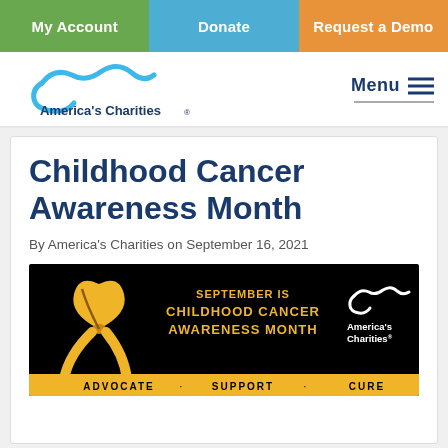My Account | Donate | Request a Demo
[Figure (logo): America's Charities logo with wave graphic and text, plus Menu hamburger button on right]
Childhood Cancer Awareness Month
By America's Charities on September 16, 2021
[Figure (illustration): Black banner with gold ribbon on left, text 'SEPTEMBER IS CHILDHOOD CANCER AWARENESS MONTH' in gold, America's Charities logo in white on right, and bottom bar with ADVOCATE | SUPPORT | CURE in black text on gold background]